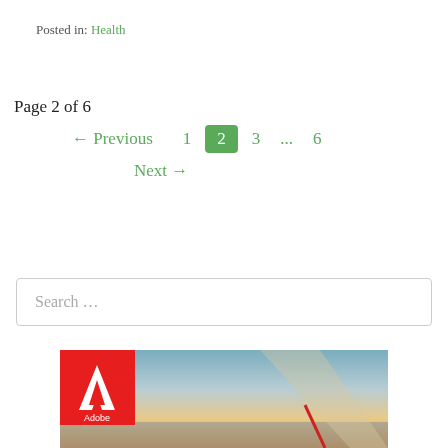Posted in: Health
Page 2 of 6
← Previous  1  2  3  ...  6
Next →
Search …
[Figure (photo): Adobe logo on a sunset background with red and orange hues and a diagonal line]